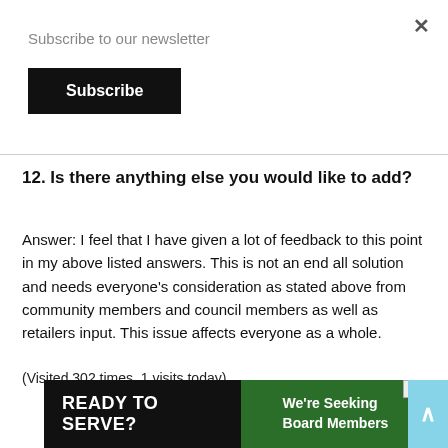Subscribe to our newsletter
Subscribe
12. Is there anything else you would like to add?
Answer: I feel that I have given a lot of feedback to this point in my above listed answers. This is not an end all solution and needs everyone's consideration as stated above from community members and council members as well as retailers input. This issue affects everyone as a whole.
(Visited 302 times, 1 visits today)
[Figure (screenshot): Advertisement banner: 'READY TO SERVE? We're Seeking Board Members']